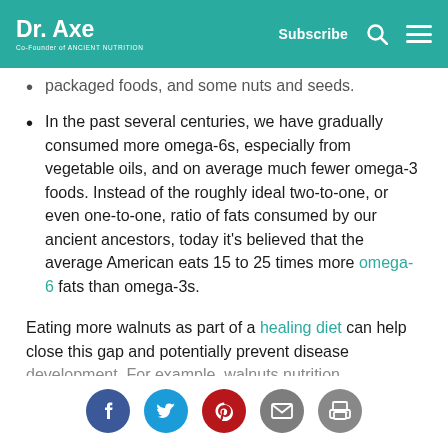Dr. Axe — Co-Founder of Ancient Nutrition | Subscribe
packaged foods, and some nuts and seeds.
In the past several centuries, we have gradually consumed more omega-6s, especially from vegetable oils, and on average much fewer omega-3 foods. Instead of the roughly ideal two-to-one, or even one-to-one, ratio of fats consumed by our ancient ancestors, today it's believed that the average American eats 15 to 25 times more omega-6 fats than omega-3s.
Eating more walnuts as part of a healing diet can help close this gap and potentially prevent disease development. For example, walnuts nutrition
Social share buttons: Facebook, Twitter, Pinterest, Email, Print